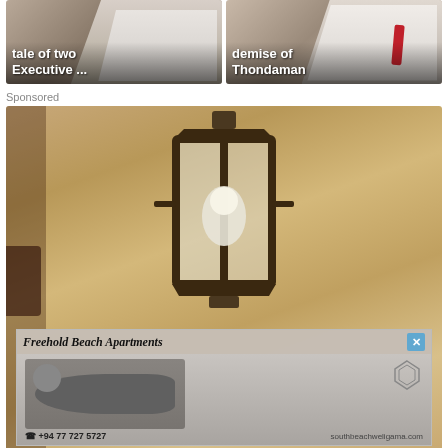[Figure (photo): Two thumbnail images side by side. Left: people with text overlay 'tale of two Executive ...'. Right: person with red tie, text overlay 'demise of Thondaman'.]
Sponsored
[Figure (photo): Large sepia-toned photo of an outdoor wall lantern/light fixture mounted on a textured stucco wall. Overlaid with a banner ad for 'Freehold Beach Apartments' showing a person on a beach with contact +94 77 727 5727 and website southbeachweligama.com]